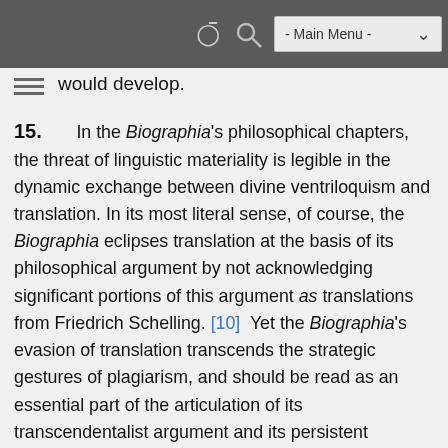- Main Menu -
would develop.
15.      In the Biographia's philosophical chapters, the threat of linguistic materiality is legible in the dynamic exchange between divine ventriloquism and translation. In its most literal sense, of course, the Biographia eclipses translation at the basis of its philosophical argument by not acknowledging significant portions of this argument as translations from Friedrich Schelling. [10]  Yet the Biographia's evasion of translation transcends the strategic gestures of plagiarism, and should be read as an essential part of the articulation of its transcendentalist argument and its persistent confrontation with its own language as representative of transcendental ideas. Ideally, Coleridge's language would participate in a process that it famously calls